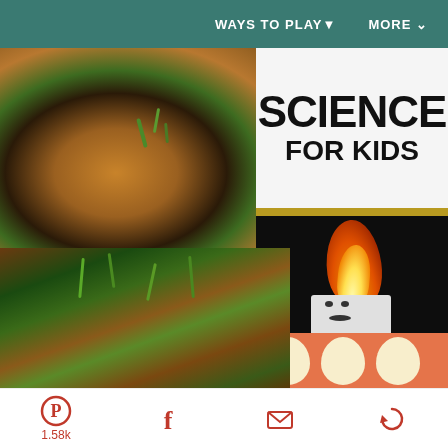WAYS TO PLAY▾   MORE ▾
[Figure (photo): Collage of science for kids images: top-left shows a pumpkin with sprouting seeds/plants and dark soil; top-right shows bold text 'SCIENCE FOR KIDS' on white background; middle-right shows a lit candle with flame against dark background; bottom-left shows colorful indian corn kernels with green sprouts; bottom-right shows orange background with white egg-like shapes]
1.58k